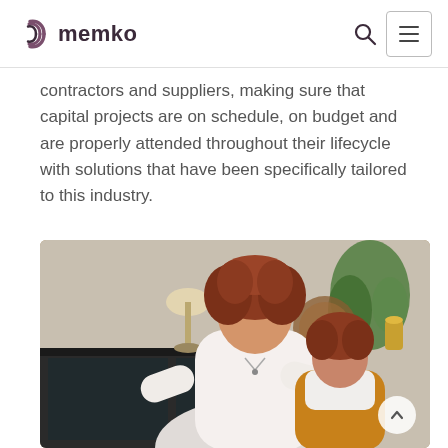memko — navigation header with logo, search, and menu
contractors and suppliers, making sure that capital projects are on schedule, on budget and are properly attended throughout their lifecycle with solutions that have been specifically tailored to this industry.
[Figure (photo): A smiling woman with curly red hair wearing a white top, leaning over a young boy with curly red hair wearing a white shirt and brown overalls, both looking downward, with a dark sideboard and home decor in the background.]